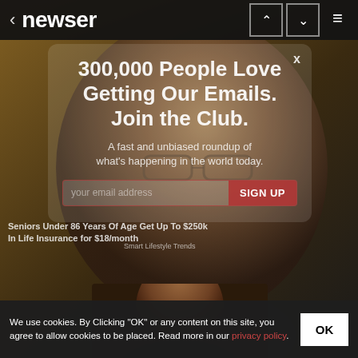newser
[Figure (photo): Background photo of an elderly man with glasses, warm tone, partially obscured by semi-transparent modal overlay]
300,000 People Love Getting Our Emails. Join the Club.
A fast and unbiased roundup of what's happening in the world today.
your email address   SIGN UP
Seniors Under 86 Years Of Age Get Up To $250k In Life Insurance for $18/month
Smart Lifestyle Trends
[Figure (photo): Partial photo of a younger person visible at the bottom of the page]
We use cookies. By Clicking "OK" or any content on this site, you agree to allow cookies to be placed. Read more in our privacy policy.